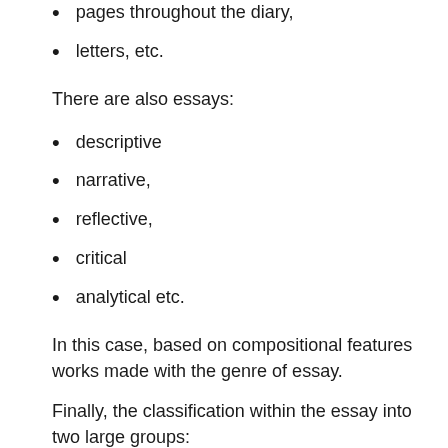pages throughout the diary,
letters, etc.
There are also essays:
descriptive
narrative,
reflective,
critical
analytical etc.
In this case, based on compositional features works made with the genre of essay.
Finally, the classification within the essay into two large groups:
personal, subjective essay where the main